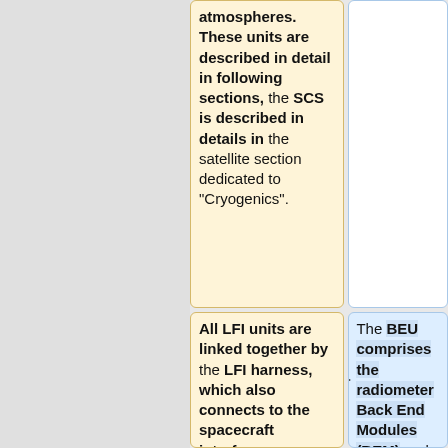atmospheres. These units are described in detail in following sections, the SCS is described in details in the satellite section dedicated to "Cryogenics".
All LFI units are linked together by the LFI harness, which also connects to the spacecraft interface.
The BEU comprises the radiometer Back End Modules (BEM) and the Data Acquisition Electronics (DAE), which are connected